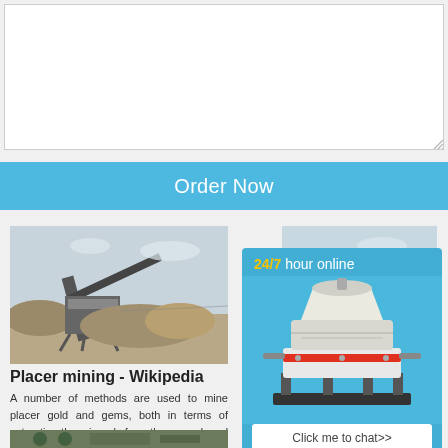[Textarea input area]
Order Now
[Figure (photo): Placer mining equipment - conveyor belt and machinery on open ground]
Placer mining - Wikipedia
A number of methods are used to mine placer gold and gems, both in terms of extracting the minerals from the ground, and separating it from the non-gold
[Figure (photo): Bottom partial image of mining equipment]
[Figure (photo): Alluvial Gold - partial photo]
Alluvial G... Wikipedia... sonnenh...
Alluvial Go... Alluvial G... Global A...
[Figure (photo): Overlay popup: cone crusher machine with 24/7 hour online label, Click me to chat>> button, Enquiry bar, limingjlmofen text]
[Figure (photo): Bottom right partial image]